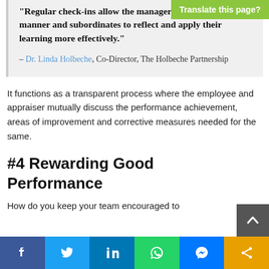“Regular check-ins allow the manager to coach in a timely manner and subordinates to reflect and apply their learning more effectively.”
– Dr. Linda Holbeche, Co-Director, The Holbeche Partnership
It functions as a transparent process where the employee and appraiser mutually discuss the performance achievement, areas of improvement and corrective measures needed for the same.
#4 Rewarding Good Performance
How do you keep your team encouraged to
[Figure (other): Translate this page? green badge in top right corner]
[Figure (other): Social sharing bar at bottom: Facebook, Twitter, LinkedIn, WhatsApp, Messenger, Share icons. Back to top arrow button.]